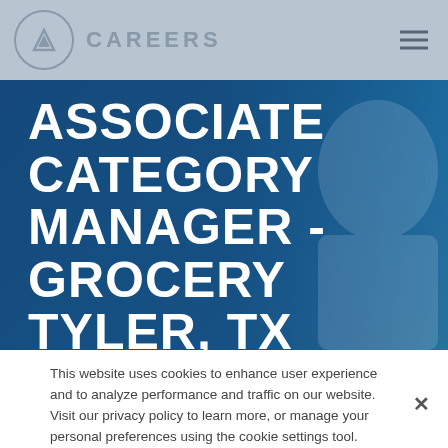CAREERS
ASSOCIATE CATEGORY MANAGER - GROCERY TYLER, TX 75704
This website uses cookies to enhance user experience and to analyze performance and traffic on our website. Visit our privacy policy to learn more, or manage your personal preferences using the cookie settings tool.